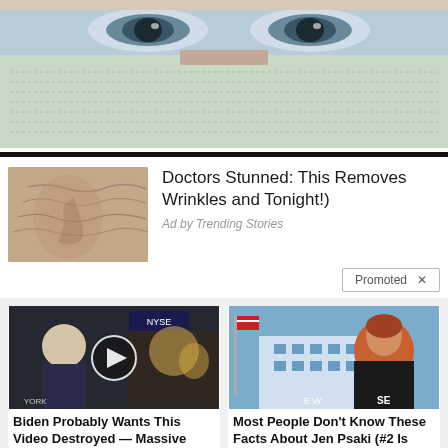[Figure (photo): Close-up photo of a person wearing a surgical/medical face mask, showing eyes and upper face]
[Figure (photo): Ad thumbnail showing close-up of elderly person's wrinkled face]
Doctors Stunned: This Removes Wrinkles and (Tonight!)
Ad by Trending Stories
Promoted X
[Figure (photo): Video thumbnail showing man being interviewed on TV with NYSE background and play button overlay]
Biden Probably Wants This Video Destroyed — Massive Currency Upheaval Has Started
89,598
[Figure (photo): Photo of Jen Psaki at White House press briefing with American flag]
Most People Don't Know These Facts About Jen Psaki (#2 Is Shocking!)
28,404